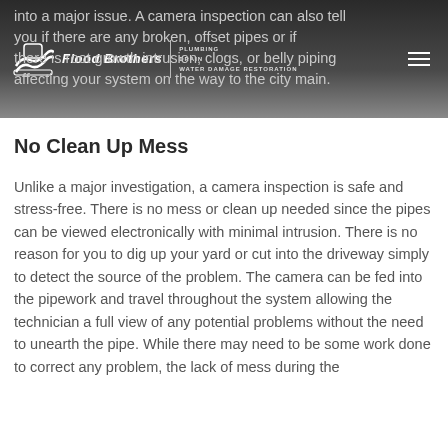Flood Brothers | PLUMBING DRAIN WATER DAMAGE RESTORATION
into a major issue. A camera inspection can also tell you if there are any broken, offset pipes or if there is root growth intrusion, clogs, or belly piping affecting your system on the way to the city main.
No Clean Up Mess
Unlike a major investigation, a camera inspection is safe and stress-free. There is no mess or clean up needed since the pipes can be viewed electronically with minimal intrusion. There is no reason for you to dig up your yard or cut into the driveway simply to detect the source of the problem. The camera can be fed into the pipework and travel throughout the system allowing the technician a full view of any potential problems without the need to unearth the pipe. While there may need to be some work done to correct any problem, the lack of mess during the